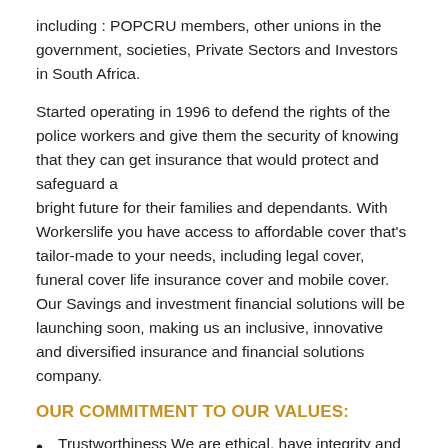including : POPCRU members, other unions in the government, societies, Private Sectors and Investors in South Africa.
Started operating in 1996 to defend the rights of the police workers and give them the security of knowing that they can get insurance that would protect and safeguard a bright future for their families and dependants. With Workerslife you have access to affordable cover that’s tailor-made to your needs, including legal cover, funeral cover life insurance cover and mobile cover. Our Savings and investment financial solutions will be launching soon, making us an inclusive, innovative and diversified insurance and financial solutions company.
OUR COMMITMENT TO OUR VALUES:
Trustworthiness We are ethical, have integrity and are consistent. We keep our promises, we always do